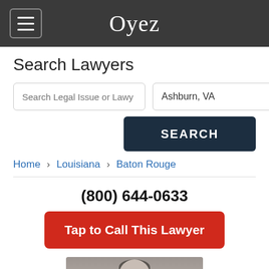Oyez
Search Lawyers
Search Legal Issue or Lawy | Ashburn, VA
SEARCH
Home › Louisiana › Baton Rouge
(800) 644-0633
Tap to Call This Lawyer
[Figure (photo): Headshot of a lawyer, grey-haired man wearing glasses, professional portrait with grey background]